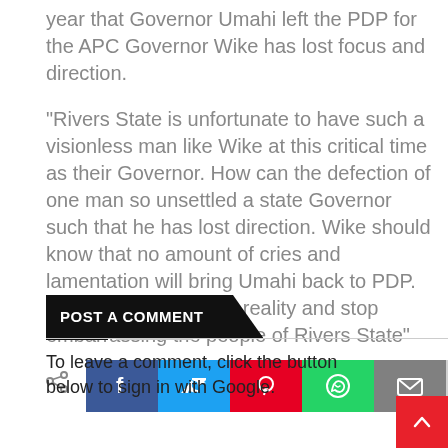year that Governor Umahi left the PDP for the APC Governor Wike has lost focus and direction.
"Rivers State is unfortunate to have such a visionless man like Wike at this critical time as their Governor. How can the defection of one man so unsettled a state Governor such that he has lost direction. Wike should know that no amount of cries and lamentation will bring Umahi back to PDP. He should accept this reality and stop embarrassing the people of Rivers State"
Tags  Politics
[Figure (infographic): Social share buttons row: share icon, Facebook (blue), Twitter (cyan), Pinterest (red), WhatsApp (green), Email (gray), Plus (light gray)]
POST A COMMENT
To leave a comment, click the button below to sign in with Google.